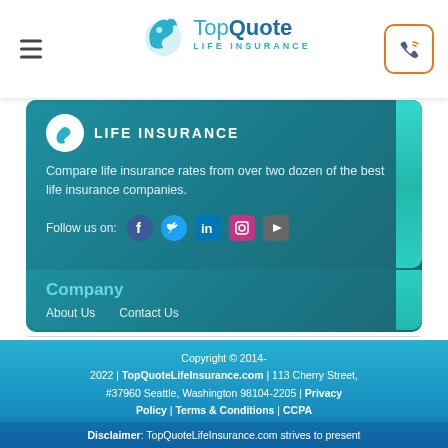TopQuote Life Insurance — navigation header with logo and phone icon
[Figure (logo): TopQuote Life Insurance logo with stylized bird/swirl icon]
LIFE INSURANCE
Compare life insurance rates from over two dozen of the best life insurance companies.
Follow us on:
[Figure (illustration): Social media icons: Facebook, Twitter, LinkedIn, Instagram, YouTube]
Company
About Us
Contact Us
Copyright © 2014-2022 | TopQuoteLifeInsurance.com | 113 Cherry Street, #37960 Seattle, Washington 98104-2205 | Privacy Policy | Terms & Conditions | CCPA
Disclaimer: TopQuoteLifeInsurance.com strives to present